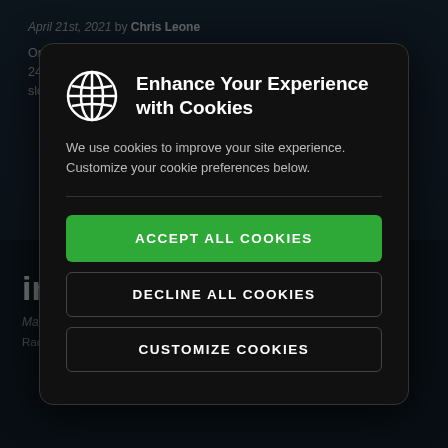April 21st, 2021 by Chris Leone
One of iRacing's most beloved Special Events, the Nurburgring 24H powered by VCO takes place this weekend with four time slots throughout April 22-25. Featuring a lineup of four distinct
[Figure (screenshot): Cookie consent modal dialog with dark background. Contains a globe icon, title 'Enhance Your Experience with Cookies', descriptive text, and three buttons: 'ACCEPT ALL COOKIES' (green), 'DECLINE ALL COOKIES' (outlined), and 'CUSTOMIZE COOKIES' (outlined).]
in April
March 9th, 2021 by Chris Leone